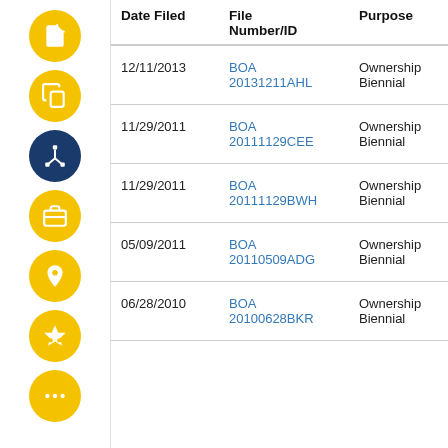| Date Filed | File Number/ID | Purpose | Applicant FRN |
| --- | --- | --- | --- |
| 12/11/2013 | BOA 20131211AHL | Ownership Biennial | 00147954... |
| 11/29/2011 | BOA 20111129CEE | Ownership Biennial | 00147954... |
| 11/29/2011 | BOA 20111129BWH | Ownership Biennial | 00147954... |
| 05/09/2011 | BOA 20110509ADG | Ownership Biennial | 00147954... |
| 06/28/2010 | BOA 20100628BKR | Ownership Biennial | 00147954... |